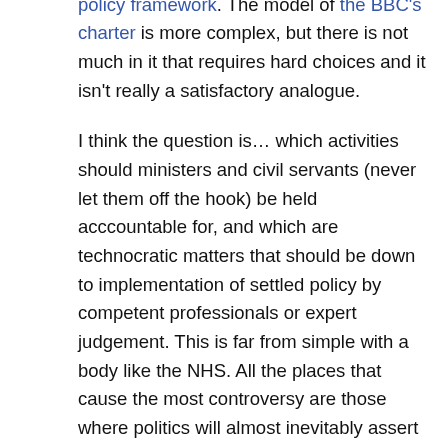lever (interest rate) in a simple monetary policy framework. The model of the BBC's charter is more complex, but there is not much in it that requires hard choices and it isn't really a satisfactory analogue.
I think the question is… which activities should ministers and civil servants (never let them off the hook) be held accountable for, and which are technocratic matters that should be down to implementation of settled policy by competent professionals or expert judgement. This is far from simple with a body like the NHS. All the places that cause the most controversy are those where politics will almost inevitably assert itself and draw ministers in… here are four areas of great importance where ministers will find it difficult to stand back from, rather than stand behind, tough decisions: